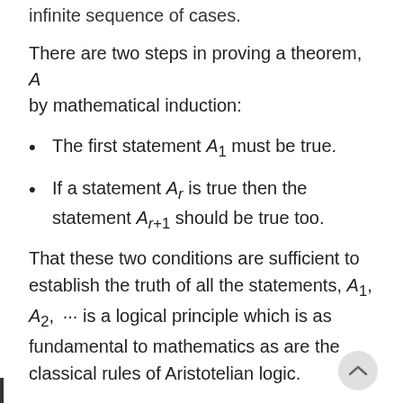infinite sequence of cases.
There are two steps in proving a theorem, A by mathematical induction:
The first statement A₁ must be true.
If a statement Aᵣ is true then the statement Aᵣ₊₁ should be true too.
That these two conditions are sufficient to establish the truth of all the statements, A₁, A₂, ⋯ is a logical principle which is as fundamental to mathematics as are the classical rules of Aristotelian logic.